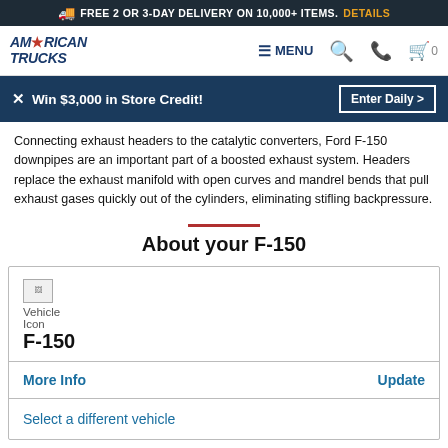FREE 2 OR 3-DAY DELIVERY ON 10,000+ ITEMS. DETAILS
[Figure (logo): American Trucks logo with navigation menu, search, phone, and cart icons]
Win $3,000 in Store Credit!
Connecting exhaust headers to the catalytic converters, Ford F-150 downpipes are an important part of a boosted exhaust system. Headers replace the exhaust manifold with open curves and mandrel bends that pull exhaust gases quickly out of the cylinders, eliminating stifling backpressure.
About your F-150
[Figure (illustration): Vehicle icon placeholder image (broken image icon)]
Vehicle Icon
F-150
More Info
Update
Select a different vehicle